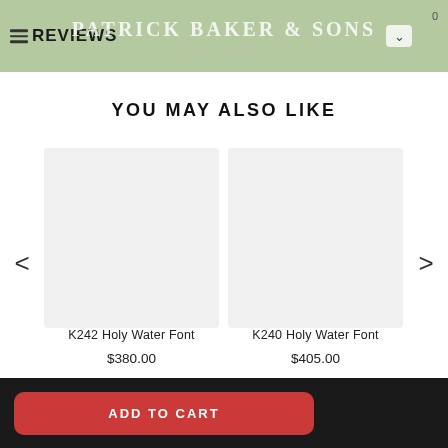REVIEWS — Patrick Baker & Sons
YOU MAY ALSO LIKE
[Figure (photo): Product image placeholder for K242 Holy Water Font]
K242 Holy Water Font
$380.00
[Figure (photo): Product image placeholder for K240 Holy Water Font]
K240 Holy Water Font
$405.00
ADD TO CART